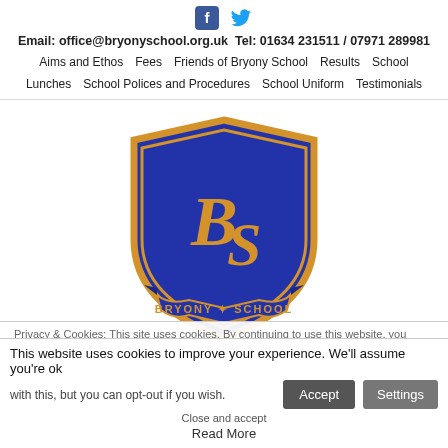[Figure (logo): Social media icons: Facebook (blue square with f) and Twitter (blue bird icon)]
Email: office@bryonyschool.org.uk  Tel: 01634 231511 / 07971 289981
Aims and Ethos  Fees  Friends of Bryony School  Results  School Lunches  School Polices and Procedures  School Uniform  Testimonials
[Figure (logo): Bryony School shield crest logo — blue and gold shield with stylized BS initials, banner at bottom reading BRYONY SCHOOL]
Privacy & Cookies: This site uses cookies. By continuing to use this website, you agree to their use.
To find out more, including how to control cookies, see here: Cookie Policy
This website uses cookies to improve your experience. We'll assume you're ok with this, but you can opt-out if you wish.
Close and accept
Read More